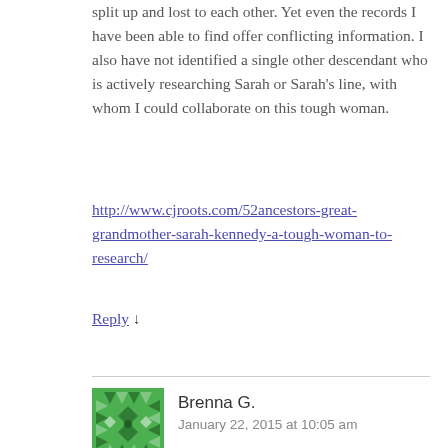split up and lost to each other. Yet even the records I have been able to find offer conflicting information. I also have not identified a single other descendant who is actively researching Sarah or Sarah's line, with whom I could collaborate on this tough woman.
http://www.cjroots.com/52ancestors-great-grandmother-sarah-kennedy-a-tough-woman-to-research/
Reply ↓
[Figure (illustration): Green geometric avatar icon for user Brenna G.]
Brenna G.
January 22, 2015 at 10:05 am
RICHINSON — "Margaret Richinson, Dour Indeed" on Green Family Archives. Judging by her picture, she must have been a tough woman!